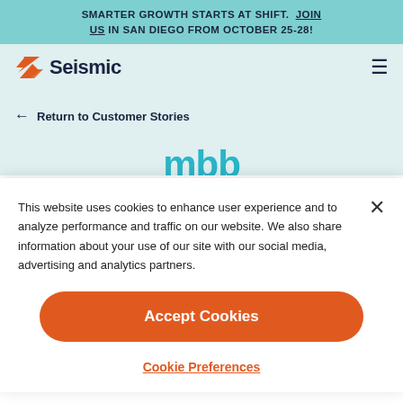SMARTER GROWTH STARTS AT SHIFT. JOIN US IN SAN DIEGO FROM OCTOBER 25-28!
[Figure (logo): Seismic logo with orange chevron icon and dark navy wordmark]
← Return to Customer Stories
This website uses cookies to enhance user experience and to analyze performance and traffic on our website. We also share information about your use of our site with our social media, advertising and analytics partners.
Accept Cookies
Cookie Preferences